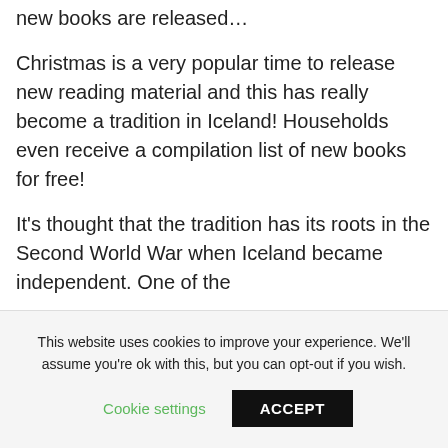new books are released...
Christmas is a very popular time to release new reading material and this has really become a tradition in Iceland! Households even receive a compilation list of new books for free!
It's thought that the tradition has its roots in the Second World War when Iceland became independent. One of the
This website uses cookies to improve your experience. We'll assume you're ok with this, but you can opt-out if you wish.
Cookie settings
ACCEPT